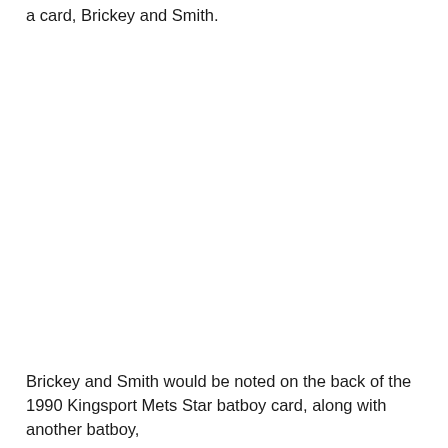a card, Brickey and Smith.
Brickey and Smith would be noted on the back of the 1990 Kingsport Mets Star batboy card, along with another batboy,